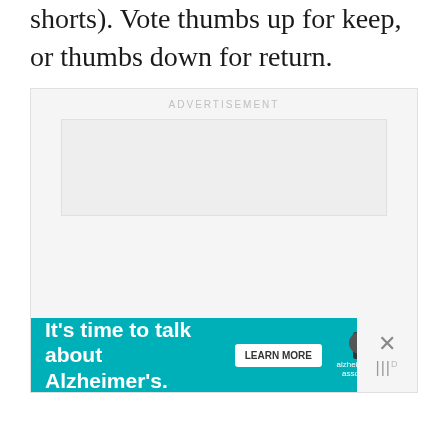shorts). Vote thumbs up for keep, or thumbs down for return.
[Figure (other): Advertisement placeholder with grey background and inner box, with an Alzheimer's Association banner ad at the bottom reading 'It's time to talk about Alzheimer's.' with a LEARN MORE button]